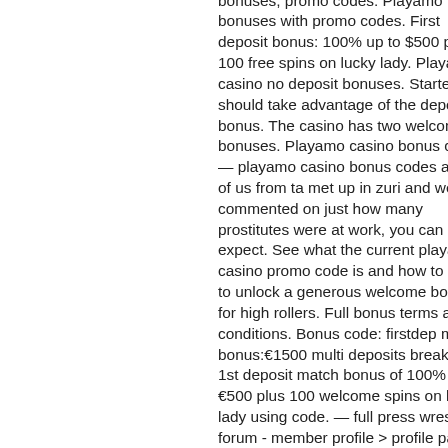bonuses, promo codes. Playamo bonuses with promo codes. First deposit bonus: 100% up to $500 plus 100 free spins on lucky lady. Playamo casino no deposit bonuses. Starters should take advantage of the deposit bonus. The casino has two welcome bonuses. Playamo casino bonus codes. — playamo casino bonus codes a few of us from ta met up in zuri and we all commented on just how many prostitutes were at work, you can expect. See what the current playamo casino promo code is and how to use it to unlock a generous welcome bonus for high rollers. Full bonus terms and conditions. Bonus code: firstdep max bonus:€1500 multi deposits breakdown: 1st deposit match bonus of 100% up to €500 plus 100 welcome spins on lucky lady using code. — full press wrestling forum - member profile &gt; profile page. User: playamo bonus codes